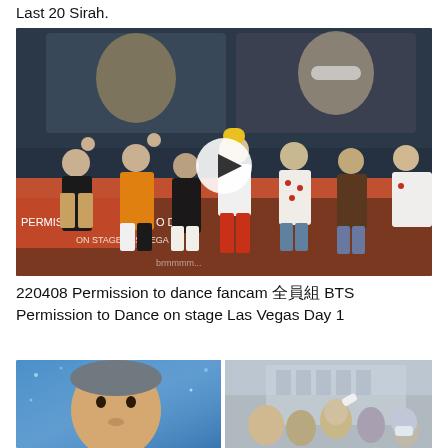Last 20 Sirah.
[Figure (photo): Concert photo showing BTS members on stage at Permission to Dance on stage Las Vegas, with a play button overlay in the center. Members are waving to the audience. Orange concert banner visible at bottom.]
220408 Permission to dance fancam 全員組 BTS Permission to Dance on stage Las Vegas Day 1
[Figure (photo): Two-panel photo: left panel shows a close-up of a person's face with blue glittery background; right panel shows an outdoor scene with a crowd and someone pouring liquid, a large building in the background.]